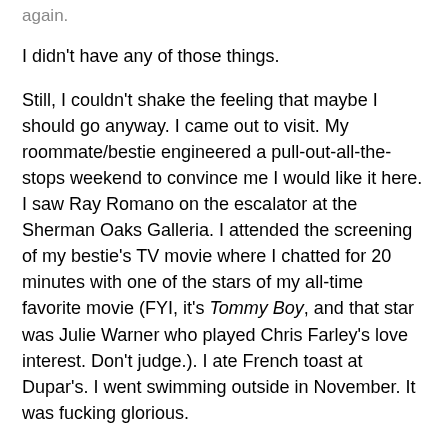again.
I didn't have any of those things.
Still, I couldn't shake the feeling that maybe I should go anyway. I came out to visit. My roommate/bestie engineered a pull-out-all-the-stops weekend to convince me I would like it here. I saw Ray Romano on the escalator at the Sherman Oaks Galleria. I attended the screening of my bestie's TV movie where I chatted for 20 minutes with one of the stars of my all-time favorite movie (FYI, it's Tommy Boy, and that star was Julie Warner who played Chris Farley's love interest. Don't judge.). I ate French toast at Dupar's. I went swimming outside in November. It was fucking glorious.
Still, I resisted. But my intuition kept saying to me, “Go to Los Angeles.”
Since companionship was my number one priority, even above